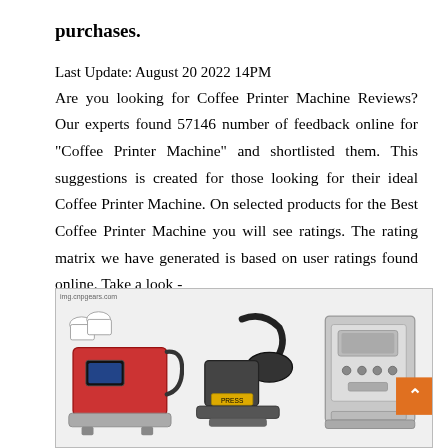purchases.
Last Update: August 20 2022 14PM
Are you looking for Coffee Printer Machine Reviews? Our experts found 57146 number of feedback online for "Coffee Printer Machine" and shortlisted them. This suggestions is created for those looking for their ideal Coffee Printer Machine. On selected products for the Best Coffee Printer Machine you will see ratings. The rating matrix we have generated is based on user ratings found online. Take a look -
[Figure (photo): Three coffee/mug printer machines side by side: a red heat press machine on the left, a black mug press machine in the center, and a silver automatic coffee machine on the right.]